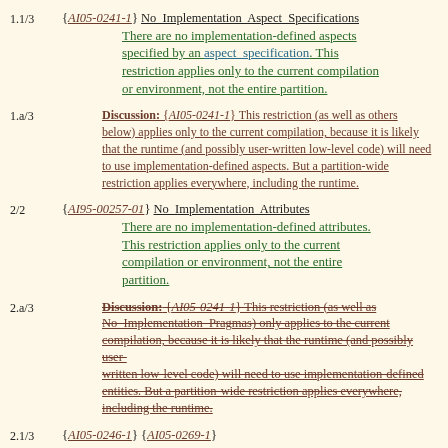1.1/3 {AI05-0241-1} No Implementation Aspect Specifications
There are no implementation-defined aspects specified by an aspect_specification. This restriction applies only to the current compilation or environment, not the entire partition.
1.a/3 Discussion: {AI05-0241-1} This restriction (as well as others below) applies only to the current compilation, because it is likely that the runtime (and possibly user-written low-level code) will need to use implementation-defined aspects. But a partition-wide restriction applies everywhere, including the runtime.
2/2 {AI95-00257-01} No Implementation Attributes
There are no implementation-defined attributes. This restriction applies only to the current compilation or environment, not the entire partition.
2.a/3 Discussion: {AI05-0241-1} This restriction (as well as No_Implementation_Pragmas) only applies to the current compilation, because it is likely that the runtime (and possibly user-written low-level code) will need to use implementation-defined entities. But a partition-wide restriction applies everywhere, including the runtime.
2.1/3 {AI05-0246-1} {AI05-0269-1} No Implementation Identifiers